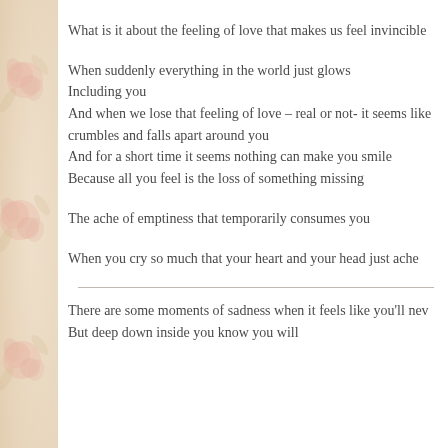What is it about the feeling of love that makes us feel invincible
When suddenly everything in the world just glows
Including you
And when we lose that feeling of love – real or not- it seems like crumbles and falls apart around you
And for a short time it seems nothing can make you smile
Because all you feel is the loss of something missing
The ache of emptiness that temporarily consumes you
When you cry so much that your heart and your head just ache
There are some moments of sadness when it feels like you'll nev
But deep down inside you know you will